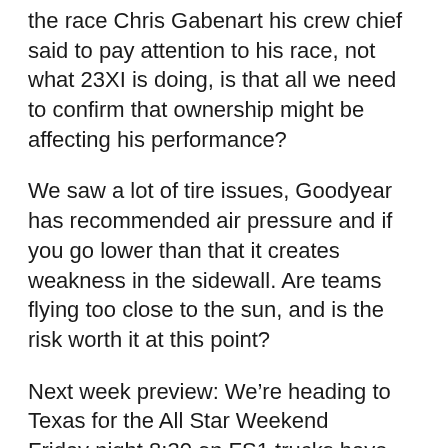the race Chris Gabenart his crew chief said to pay attention to his race, not what 23XI is doing, is that all we need to confirm that ownership might be affecting his performance?
We saw a lot of tire issues, Goodyear has recommended air pressure and if you go lower than that it creates weakness in the sidewall. Are teams flying too close to the sun, and is the risk worth it at this point?
Next week preview: We’re heading to Texas for the All Star Weekend
Friday night 8:30 on FS1 trucks have the SpeedyCash.com 220
Saturday Xfinity has the SRS Distribution 250
1:30 on FS1